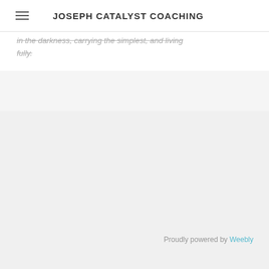JOSEPH CATALYST COACHING
in the darkness, carrying the simplest, and living fully.
Proudly powered by Weebly